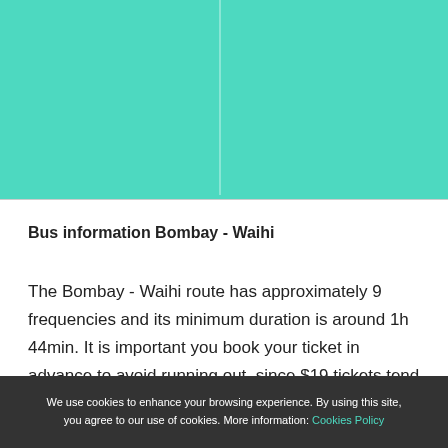[Figure (other): Teal/turquoise colored header background area with a vertical dividing line in the center]
Bus information Bombay - Waihi
The Bombay - Waihi route has approximately 9 frequencies and its minimum duration is around 1h 44min. It is important you book your ticket in advance to avoid running out, since $19 tickets tend to run out quickly.
We use cookies to enhance your browsing experience. By using this site, you agree to our use of cookies. More information: Cookies Policy